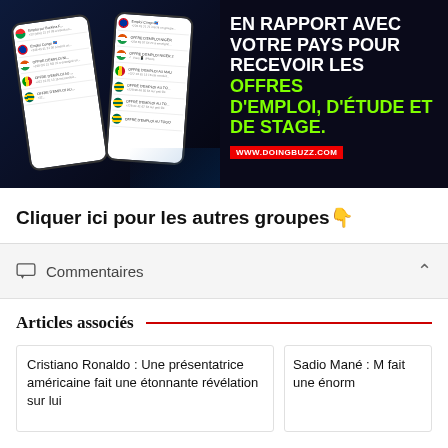[Figure (infographic): Dark-background advertisement for DoingBuzz showing two phone mockups with WhatsApp-style job offer messages, and bold text in French: EN RAPPORT AVEC VOTRE PAYS POUR RECEVOIR LES OFFRES D'EMPLOI, D'ÉTUDE ET DE STAGE. www.doingbuzz.com]
Cliquer ici pour les autres groupes👇
Commentaires
Articles associés
Cristiano Ronaldo : Une présentatrice américaine fait une étonnante révélation sur lui
Sadio Mané : M fait une énorm